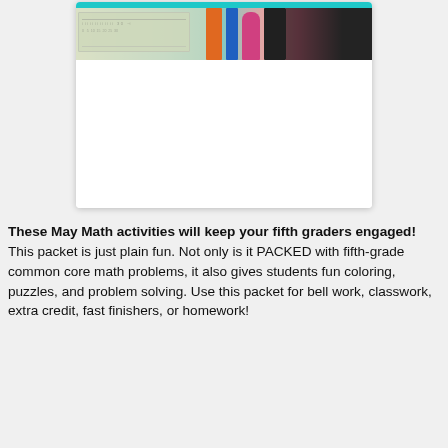[Figure (photo): A card/document preview with a teal top bar and a photo of a ruler, colored markers/pens (orange, blue, pink, black) against a light background. The lower portion of the card is white/blank.]
These May Math activities will keep your fifth graders engaged! This packet is just plain fun. Not only is it PACKED with fifth-grade common core math problems, it also gives students fun coloring, puzzles, and problem solving. Use this packet for bell work, classwork, extra credit, fast finishers, or homework!